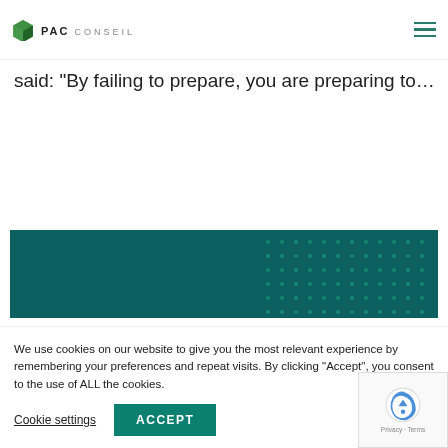PAC CONSEIL
said: “By failing to prepare, you are preparing to…
read more
[Figure (illustration): Dark teal banner with decorative dot pattern on the right side]
We use cookies on our website to give you the most relevant experience by remembering your preferences and repeat visits. By clicking “Accept”, you consent to the use of ALL the cookies.
Cookie settings   ACCEPT